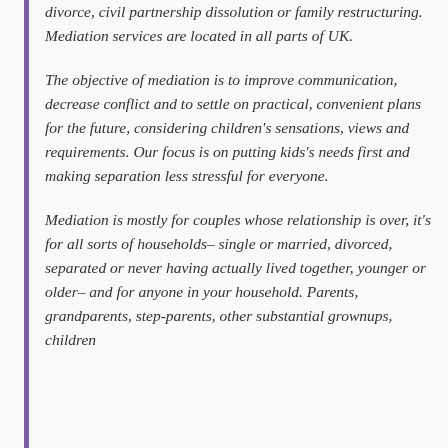divorce, civil partnership dissolution or family restructuring. Mediation services are located in all parts of UK.
The objective of mediation is to improve communication, decrease conflict and to settle on practical, convenient plans for the future, considering children's sensations, views and requirements. Our focus is on putting kids's needs first and making separation less stressful for everyone.
Mediation is mostly for couples whose relationship is over, it's for all sorts of households– single or married, divorced, separated or never having actually lived together, younger or older– and for anyone in your household. Parents, grandparents, step-parents, other substantial grownups, children